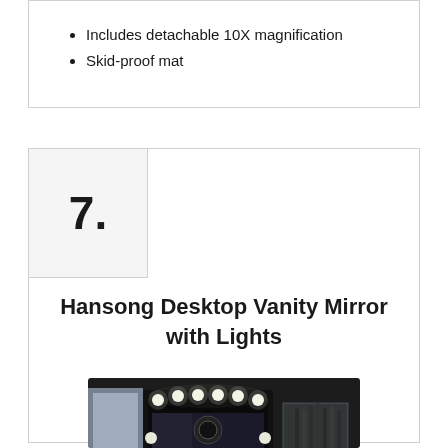Includes detachable 10X magnification
Skid-proof mat
7.
Hansong Desktop Vanity Mirror with Lights
[Figure (photo): A desktop vanity mirror with Hollywood-style lights arranged around the frame, placed on a vanity table with makeup brushes, cosmetics organizer, and beauty products in the background]